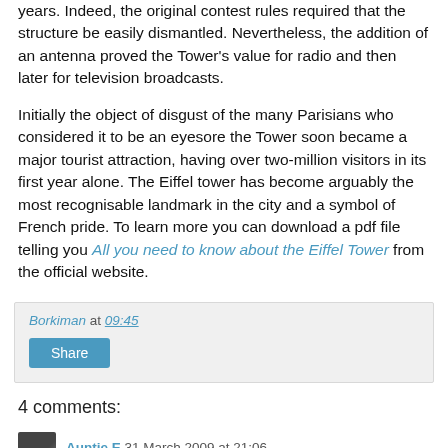years. Indeed, the original contest rules required that the structure be easily dismantled. Nevertheless, the addition of an antenna proved the Tower's value for radio and then later for television broadcasts.
Initially the object of disgust of the many Parisians who considered it to be an eyesore the Tower soon became a major tourist attraction, having over two-million visitors in its first year alone. The Eiffel tower has become arguably the most recognisable landmark in the city and a symbol of French pride. To learn more you can download a pdf file telling you All you need to know about the Eiffel Tower from the official website.
Borkiman at 09:45
Share
4 comments:
Auntie E 31 March 2009 at 21:06